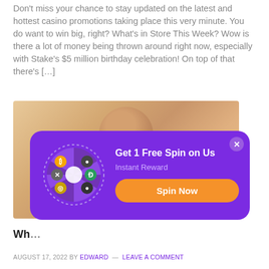Don't miss your chance to stay updated on the latest and hottest casino promotions taking place this very minute. You do want to win big, right? What's in Store This Week? Wow is there a lot of money being thrown around right now, especially with Stake's $5 million birthday celebration! On top of that there's […]
[Figure (photo): Photo of a smiling bald man with a large stylized number overlay, partially obscured by a popup modal]
[Figure (other): Purple popup modal with spin wheel graphic, title 'Get 1 Free Spin on Us', subtitle 'Instant Reward', and orange 'Spin Now' button]
Wh…
AUGUST 17, 2022 BY EDWARD — LEAVE A COMMENT